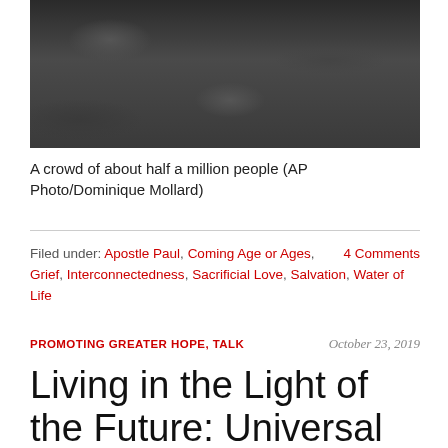[Figure (photo): Aerial view of a massive crowd of approximately half a million people, dark tones]
A crowd of about half a million people (AP Photo/Dominique Mollard)
Filed under: Apostle Paul, Coming Age or Ages, Grief, Interconnectedness, Sacrificial Love, Salvation, Water of Life     4 Comments
PROMOTING GREATER HOPE, TALK     October 23, 2019
Living in the Light of the Future: Universal Restoration and Practical